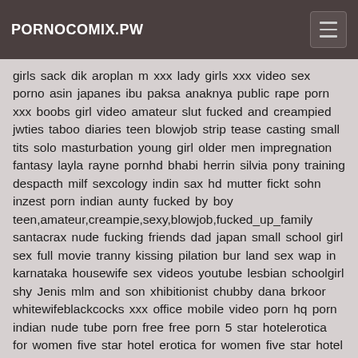PORNOCOMIX.PW
girls sack dik aroplan m xxx lady girls xxx video sex porno asin japanes ibu paksa anaknya public rape porn xxx boobs girl video amateur slut fucked and creampied jwties taboo diaries teen blowjob strip tease casting small tits solo masturbation young girl older men impregnation fantasy layla rayne pornhd bhabi herrin silvia pony training despacth milf sexcology indin sax hd mutter fickt sohn inzest porn indian aunty fucked by boy teen,amateur,creampie,sexy,blowjob,fucked_up_family santacrax nude fucking friends dad japan small school girl sex full movie tranny kissing pilation bur land sex wap in karnataka housewife sex videos youtube lesbian schoolgirl shy Jenis mlm and son xhibitionist chubby dana brkoor whitewifeblackcocks xxx office mobile video porn hq porn indian nude tube porn free free porn 5 star hotelerotica for women five star hotel erotica for women five star hotel